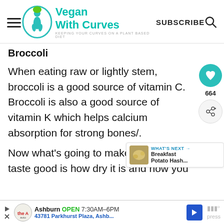Vegan With Curves — KEEPING YOUR CURVES ON A PLANT BASED DIET — SUBSCRIBE
Broccoli
When eating raw or lightly stem, broccoli is a good source of vitamin C. Broccoli is also a good source of vitamin K which helps calcium absorption for strong bones/.
Now what's going to make your ... taste good is how dry it is and how you
[Figure (infographic): What's Next widget showing Breakfast Potato Hash... with thumbnail image]
[Figure (infographic): Advertisement bar: Ashburn OPEN 7:30AM-6PM, 43781 Parkhurst Plaza, Ashb... with The Auto logo and navigation arrow, press logo on right]